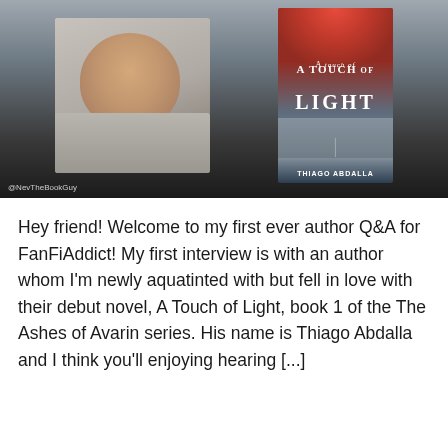[Figure (photo): Promotional image showing a man (author Thiago Abdalla) on the left against a dark background, and the book cover of 'A Touch of Light' by Thiago Abdalla on the right. The book cover features red foliage at the top and a sword. Watermark '@NevTheBookGuy' visible at bottom left.]
Hey friend! Welcome to my first ever author Q&A for FanFiAddict! My first interview is with an author whom I'm newly aquatinted with but fell in love with their debut novel, A Touch of Light, book 1 of the The Ashes of Avarin series. His name is Thiago Abdalla and I think you'll enjoying hearing [...]